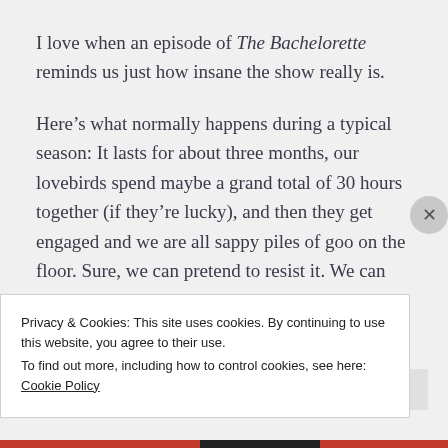I love when an episode of The Bachelorette reminds us just how insane the show really is.
Here’s what normally happens during a typical season: It lasts for about three months, our lovebirds spend maybe a grand total of 30 hours together (if they’re lucky), and then they get engaged and we are all sappy piles of goo on the floor. Sure, we can pretend to resist it. We can “hate
Privacy & Cookies: This site uses cookies. By continuing to use this website, you agree to their use.
To find out more, including how to control cookies, see here: Cookie Policy
Close and accept